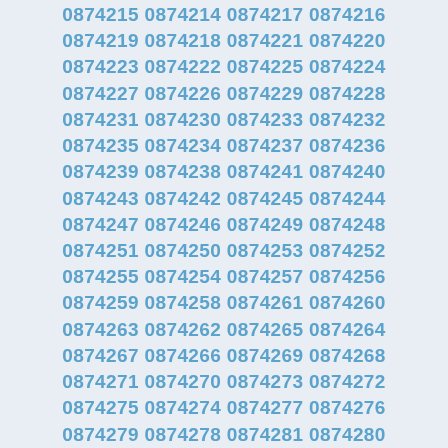0874215 0874214 0874217 0874216
0874219 0874218 0874221 0874220
0874223 0874222 0874225 0874224
0874227 0874226 0874229 0874228
0874231 0874230 0874233 0874232
0874235 0874234 0874237 0874236
0874239 0874238 0874241 0874240
0874243 0874242 0874245 0874244
0874247 0874246 0874249 0874248
0874251 0874250 0874253 0874252
0874255 0874254 0874257 0874256
0874259 0874258 0874261 0874260
0874263 0874262 0874265 0874264
0874267 0874266 0874269 0874268
0874271 0874270 0874273 0874272
0874275 0874274 0874277 0874276
0874279 0874278 0874281 0874280
0874283 0874282 0874285 0874284
0874287 0874286 0874289 0874288
0874291 0874290 0874293 0874292
0874295 0874294 0874297 0874296
0874299 0874298 0874301 0874300
0874303 0874302 0874305 0874304
0874307 0874306 0874309 0874308
0874311 0874310 0874313 0874312
0874315 0874314 0874317 0874316
0874319 0874318 0874321 0874320
0874323 0874322 0874325 0874324
0874327 0874326 0874329 0874328